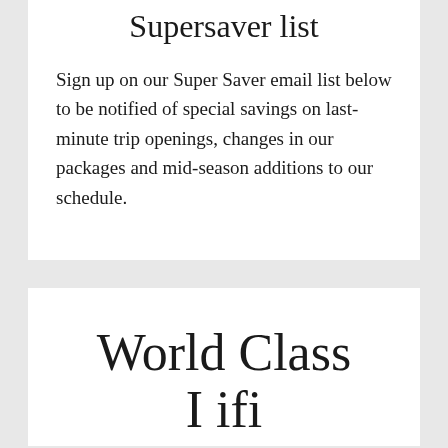Supersaver list
Sign up on our Super Saver email list below to be notified of special savings on last-minute trip openings, changes in our packages and mid-season additions to our schedule.
World Class